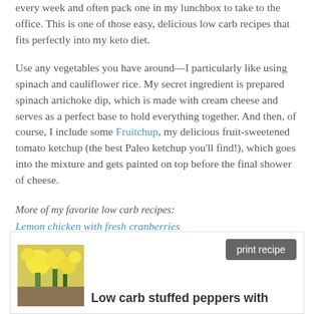every week and often pack one in my lunchbox to take to the office. This is one of those easy, delicious low carb recipes that fits perfectly into my keto diet.
Use any vegetables you have around—I particularly like using spinach and cauliflower rice. My secret ingredient is prepared spinach artichoke dip, which is made with cream cheese and serves as a perfect base to hold everything together. And then, of course, I include some Fruitchup, my delicious fruit-sweetened tomato ketchup (the best Paleo ketchup you'll find!), which goes into the mixture and gets painted on top before the final shower of cheese.
More of my favorite low carb recipes:
Lemon chicken with fresh cranberries
Keto mushroom quiche with an almond flour crust
Pork belly "fries"
[Figure (other): Recipe card with print recipe button, a photo of sunflowers/food, and a title 'Low carb stuffed peppers with']